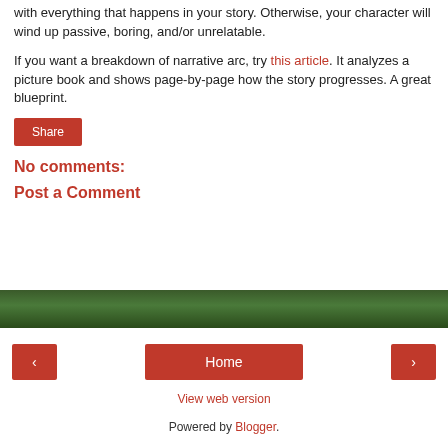with everything that happens in your story. Otherwise, your character will wind up passive, boring, and/or unrelatable.
If you want a breakdown of narrative arc, try this article. It analyzes a picture book and shows page-by-page how the story progresses. A great blueprint.
Share
No comments:
Post a Comment
[Figure (photo): Dark green forest/nature background banner]
< Home >
View web version
Powered by Blogger.